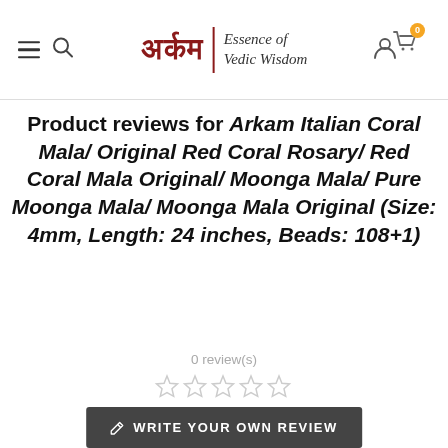Arkam | Essence of Vedic Wisdom — site header with navigation, search, logo, account, and cart icons
Product reviews for Arkam Italian Coral Mala/ Original Red Coral Rosary/ Red Coral Mala Original/ Moonga Mala/ Pure Moonga Mala/ Moonga Mala Original (Size: 4mm, Length: 24 inches, Beads: 108+1)
0 review(s)
[Figure (other): Five empty star rating icons (0 out of 5 stars)]
WRITE YOUR OWN REVIEW